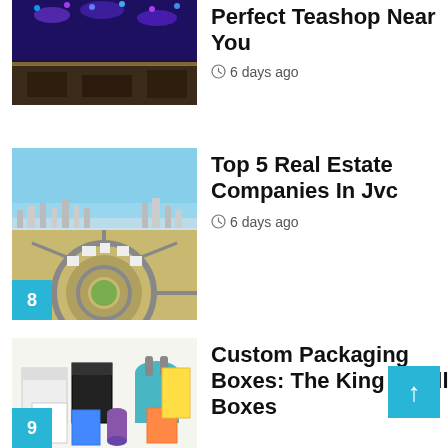[Figure (photo): Partial view of a teashop or event venue with purple/blue lighting at the top]
Perfect Teashop Near You
6 days ago
[Figure (photo): Aerial view of JVC (Jumeirah Village Circle) real estate development in Dubai with circular road layout, numbered badge 8]
Top 5 Real Estate Companies In Jvc
6 days ago
[Figure (photo): Collection of custom packaging boxes including gift boxes, bags and product boxes, numbered badge 9]
Custom Packaging Boxes: The King Of All Boxes
1 week ago
[Figure (photo): Partial view of colorful custom packaging with numbered badge 10]
Benefits Of Custom